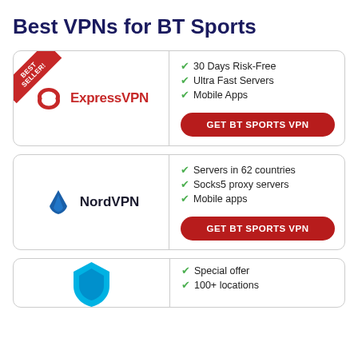Best VPNs for BT Sports
[Figure (infographic): ExpressVPN card with BEST SELLER ribbon. Logo: red shield icon and red ExpressVPN text. Features: 30 Days Risk-Free, Ultra Fast Servers, Mobile Apps. Red button: GET BT SPORTS VPN]
[Figure (infographic): NordVPN card. Logo: blue NordVPN shield icon and dark NordVPN text. Features: Servers in 62 countries, Socks5 proxy servers, Mobile apps. Red button: GET BT SPORTS VPN]
[Figure (infographic): Third VPN card partially visible. Blue shield icon visible. Features: Special offer, 100+ locations, (cut off). Right panel visible.]